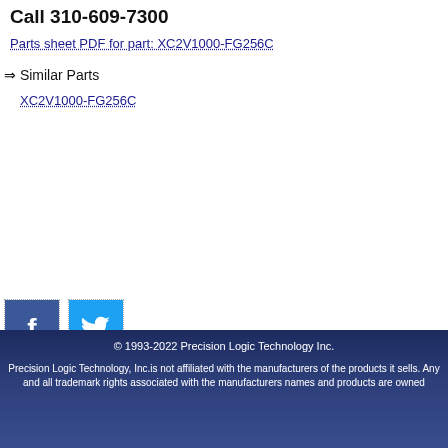Call 310-609-7300
Parts sheet PDF for part: XC2V1000-FG256C
⇒ Similar Parts
XC2V1000-FG256C
[Figure (other): Facebook and Twitter social media icon buttons]
© 1993-2022 Precision Logic Technology Inc. Precision Logic Technology, Inc.is not affiliated with the manufacturers of the products it sells. Any and all trademark rights associated with the manufacturers names and products are owned